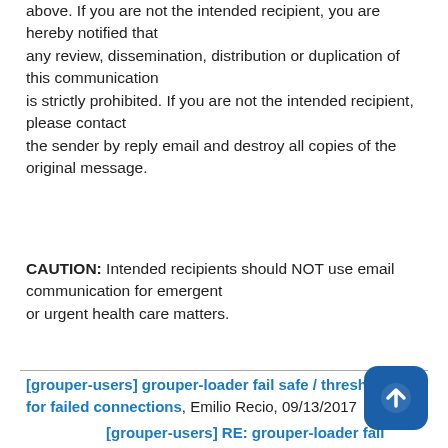above. If you are not the intended recipient, you are hereby notified that any review, dissemination, distribution or duplication of this communication is strictly prohibited. If you are not the intended recipient, please contact the sender by reply email and destroy all copies of the original message.
CAUTION: Intended recipients should NOT use email communication for emergent or urgent health care matters.
[grouper-users] grouper-loader fail safe / threshold for failed connections, Emilio Recio, 09/13/2017
[grouper-users] RE: grouper-loader fail safe / threshold for failed connections, Hyzer, Chris, 09/13/2017